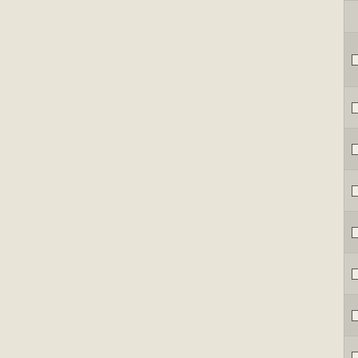|  | Accession | Gene | Description |
| --- | --- | --- | --- |
| ☐ | NC_007498 | Pcar_2500 | GntR transcriptional regulator family |
| ☐ | NC_007963 | Csal_1739 | GntR family transcriptional regulator |
| ☐ | NC_009504 | BOV_A0020 | GntR family transcriptional regulator |
| ☐ | NC_008148 | Rxyl_0554 | GntR family transcriptional regulator |
| ☐ | NC_010338 | Caul_1834 | GntR domain-containing protein |
| ☐ | NC_009952 | Dshi_3048 | GntR-family transcriptional regulator |
| ☐ | NC_011988 | Avi_5136 | transcriptional regulator, GntR family |
| ☐ | NC_008699 | Noca_4197 | GntR family transcriptional regulator |